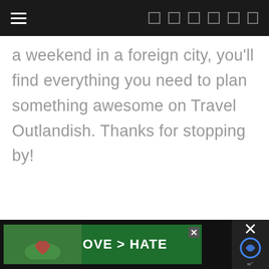Navigation header with hamburger menu and icons
a weekend in a foreign city, you'll find everything you need to plan something awesome on Travel Outlandish. Thanks for stopping by!
[Figure (other): Social share icons row (small square icon placeholders)]
2 COMMENTS
DOLLY SOUTHERLAND
June 26, 2018 at 12:26 am
[Figure (other): Bottom advertisement banner: LOVE > HATE with green background, close button, and reCAPTCHA icon]